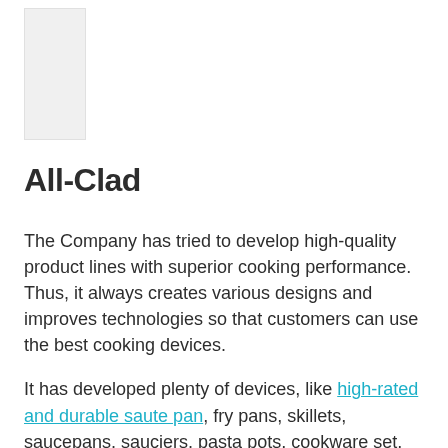[Figure (other): Small placeholder image or thumbnail in upper left area]
All-Clad
The Company has tried to develop high-quality product lines with superior cooking performance. Thus, it always creates various designs and improves technologies so that customers can use the best cooking devices.
It has developed plenty of devices, like high-rated and durable saute pan, fry pans, skillets, saucepans, sauciers, pasta pots, cookware set, griddle, grill pans, roasters, bakeware set, baking pans, cookie sheets, muffin pans, loaf pans, and other kitchen tools and accessories.